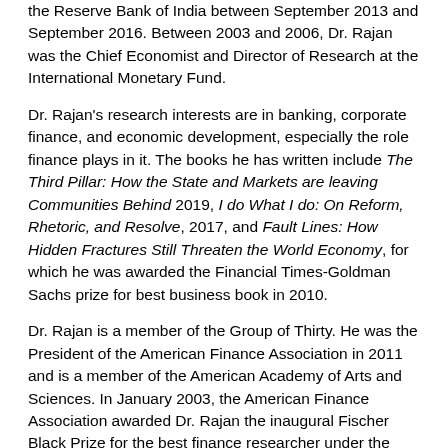the Reserve Bank of India between September 2013 and September 2016. Between 2003 and 2006, Dr. Rajan was the Chief Economist and Director of Research at the International Monetary Fund.
Dr. Rajan's research interests are in banking, corporate finance, and economic development, especially the role finance plays in it. The books he has written include The Third Pillar: How the State and Markets are leaving Communities Behind 2019, I do What I do: On Reform, Rhetoric, and Resolve, 2017, and Fault Lines: How Hidden Fractures Still Threaten the World Economy, for which he was awarded the Financial Times-Goldman Sachs prize for best business book in 2010.
Dr. Rajan is a member of the Group of Thirty. He was the President of the American Finance Association in 2011 and is a member of the American Academy of Arts and Sciences. In January 2003, the American Finance Association awarded Dr. Rajan the inaugural Fischer Black Prize for the best finance researcher under the age of 40. The other awards he has received include the Infosys prize for the Economic Sciences in 2012, the Deutsche Bank Prize for Financial Economics in 2013, Euromoney Central Banker Governor of the Year 2014, and Banker Magazine (FT Group) Central Bank Governor of the Year 2016.
Commentators: